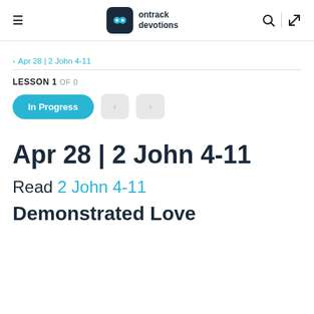ontrack devotions
> Apr 28 | 2 John 4-11
LESSON 1 OF 0
In Progress
Apr 28 | 2 John 4-11
Read 2 John 4-11
Demonstrated Love